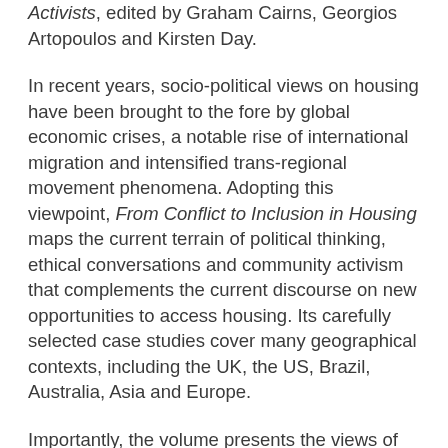Activists, edited by Graham Cairns, Georgios Artopoulos and Kirsten Day.
In recent years, socio-political views on housing have been brought to the fore by global economic crises, a notable rise of international migration and intensified trans-regional movement phenomena. Adopting this viewpoint, From Conflict to Inclusion in Housing maps the current terrain of political thinking, ethical conversations and community activism that complements the current discourse on new opportunities to access housing. Its carefully selected case studies cover many geographical contexts, including the UK, the US, Brazil, Australia, Asia and Europe.
Importantly, the volume presents the views of stakeholders that are typically left unaccounted for in the process of housing development, and presents them with an interdisciplinary audience of sociologists, planners and architects in mind. Each chapter offers new interpretations of real-